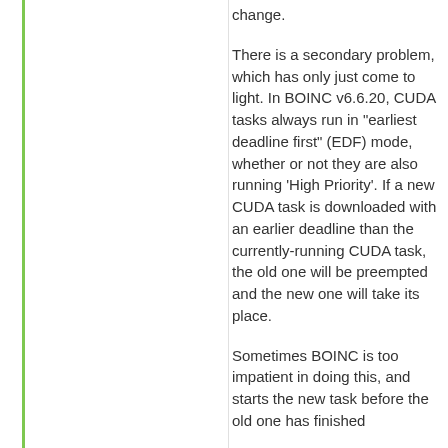change.
There is a secondary problem, which has only just come to light. In BOINC v6.6.20, CUDA tasks always run in "earliest deadline first" (EDF) mode, whether or not they are also running 'High Priority'. If a new CUDA task is downloaded with an earlier deadline than the currently-running CUDA task, the old one will be preempted and the new one will take its place.
Sometimes BOINC is too impatient in doing this, and starts the new task before the old one has finished